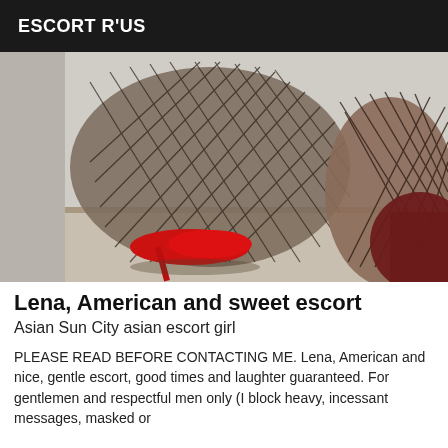ESCORT R'US
[Figure (photo): Close-up photo of legs wearing fishnet stockings and red high heels on a light floor, with dark red fabric visible on the right side.]
Lena, American and sweet escort
Asian Sun City asian escort girl
PLEASE READ BEFORE CONTACTING ME. Lena, American and nice, gentle escort, good times and laughter guaranteed. For gentlemen and respectful men only (I block heavy, incessant messages, masked or